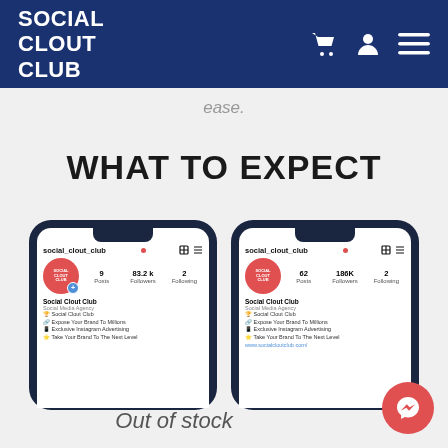SOCIAL CLOUT CLUB
ease.
WHAT TO EXPECT
[Figure (screenshot): Two phone mockups showing Instagram profile for social_clout_club. Left phone shows 9 Posts, 83.2k Followers, 2 Following. Right phone shows 62 Posts, 186K Followers, 2 Following.]
Out of stock